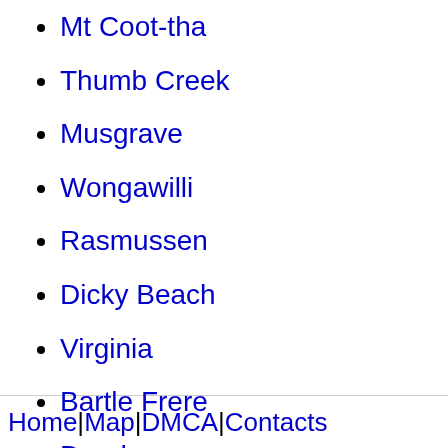Mt Coot-tha
Thumb Creek
Musgrave
Wongawilli
Rasmussen
Dicky Beach
Virginia
Bartle Frere
Dundas
Home| Map| DMCA| Contacts